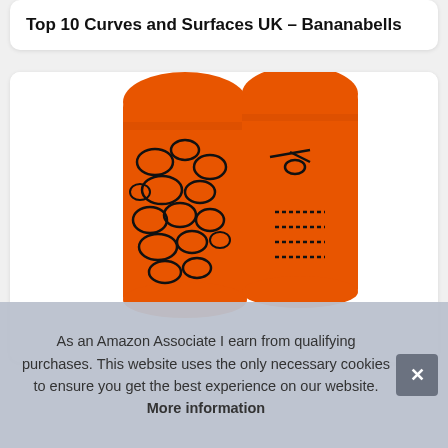Top 10 Curves and Surfaces UK – Bananabells
[Figure (photo): Two orange cycling/running socks with black giraffe-pattern print, shown standing upright against a white background. The socks are bright orange with irregular black outlined shapes covering the foot and ankle area.]
As an Amazon Associate I earn from qualifying purchases. This website uses the only necessary cookies to ensure you get the best experience on our website. More information